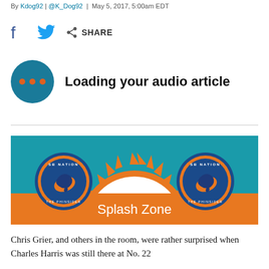By Kdog92 | @K_Dog92 | May 5, 2017, 5:00am EDT
[Figure (infographic): Social sharing bar with Facebook icon, Twitter bird icon, and Share button with arrow icon]
[Figure (infographic): Audio player widget: teal circle with three orange dots on left, text 'Loading your audio article' on right]
[Figure (illustration): SB Nation / The Phinsider 'Splash Zone' banner image with teal background, orange sun rising graphic in center with 'Splash Zone' text, SB Nation The Phinsider logos on left and right]
Chris Grier, and others in the room, were rather surprised when Charles Harris was still there at No. 22